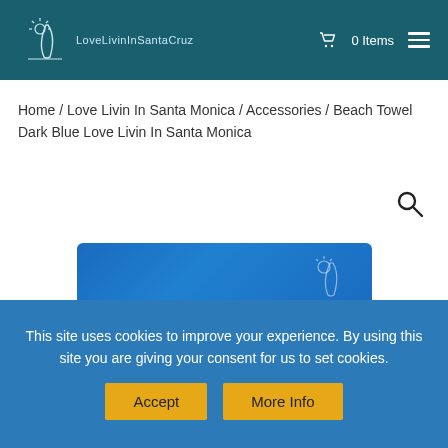LoveLivinInSantaCruz — 0 Items
Home / Love Livin In Santa Monica / Accessories / Beach Towel Dark Blue Love Livin In Santa Monica
[Figure (photo): Blue folded beach towel with a surfboard and sun logo design on a white background]
This site uses cookies to improve your experience. By using this site you are giving your consent for us to set cookies.